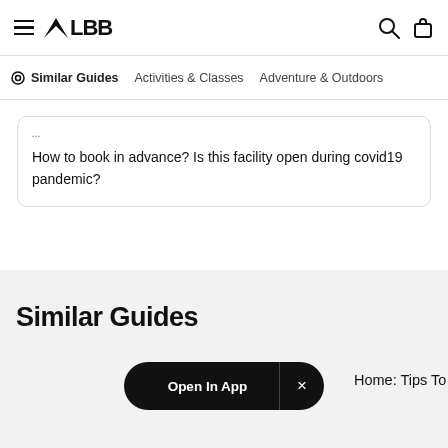LBB — Similar Guides | Activities & Classes | Adventure & Outdoors
How to book in advance? Is this facility open during covid19 pandemic?
Similar Guides
Open In App
Home: Tips To